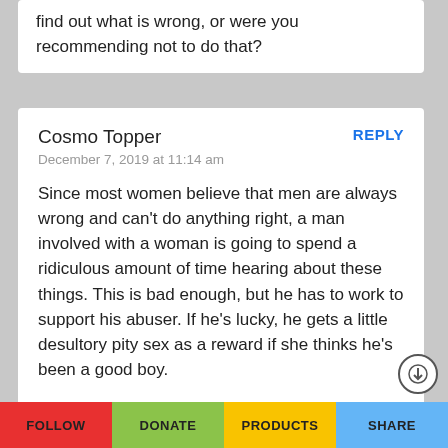find out what is wrong, or were you recommending not to do that?
Cosmo Topper
December 7, 2019 at 11:14 am
REPLY
Since most women believe that men are always wrong and can't do anything right, a man involved with a woman is going to spend a ridiculous amount of time hearing about these things. This is bad enough, but he has to work to support his abuser. If he's lucky, he gets a little desultory pity sex as a reward if she thinks he's been a good boy.

No self-aware man would ever sign up
FOLLOW   DONATE   PRODUCTS   SHARE